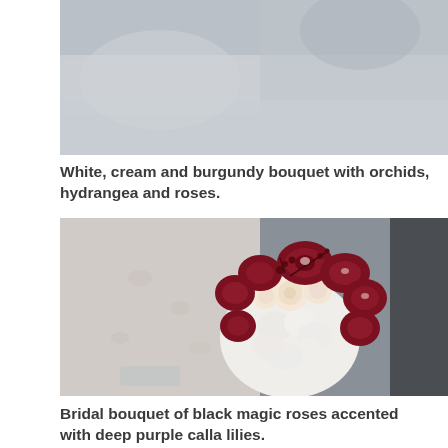[Figure (photo): Top portion of a photo, likely showing a blurred background scene, possibly part of a previous bouquet or wedding setting image — cropped at top.]
White, cream and burgundy bouquet with orchids, hydrangea and roses.
[Figure (photo): A bride holding a round bouquet featuring white hydrangea, cream roses, and deep burgundy/dark red cymbidium orchids with small dark berries. The bride is wearing a white embellished dress with a jeweled bracelet.]
Bridal bouquet of black magic roses accented with deep purple calla lilies.